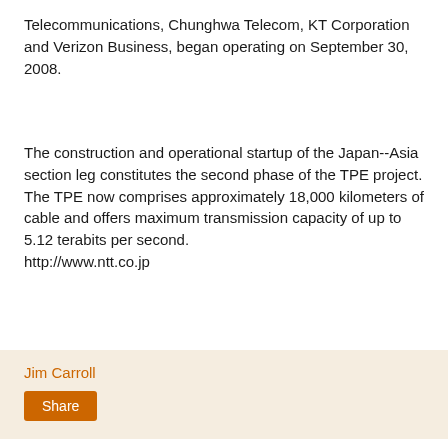Telecommunications, Chunghwa Telecom, KT Corporation and Verizon Business, began operating on September 30, 2008.
The construction and operational startup of the Japan--Asia section leg constitutes the second phase of the TPE project. The TPE now comprises approximately 18,000 kilometers of cable and offers maximum transmission capacity of up to 5.12 terabits per second.
http://www.ntt.co.jp
Jim Carroll
Share
Huawei Confirms 4G Order from Tele2 and Telenor
Huawei received a major infrastructure order from